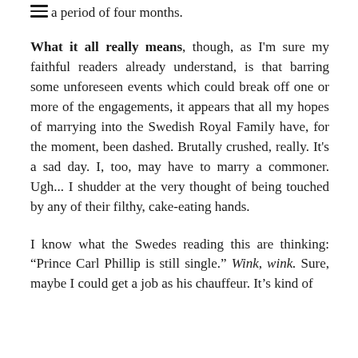a period of four months.
What it all really means, though, as I'm sure my faithful readers already understand, is that barring some unforeseen events which could break off one or more of the engagements, it appears that all my hopes of marrying into the Swedish Royal Family have, for the moment, been dashed. Brutally crushed, really. It's a sad day. I, too, may have to marry a commoner. Ugh... I shudder at the very thought of being touched by any of their filthy, cake-eating hands.
I know what the Swedes reading this are thinking: "Prince Carl Phillip is still single." Wink, wink. Sure, maybe I could get a job as his chauffeur. It's kind of